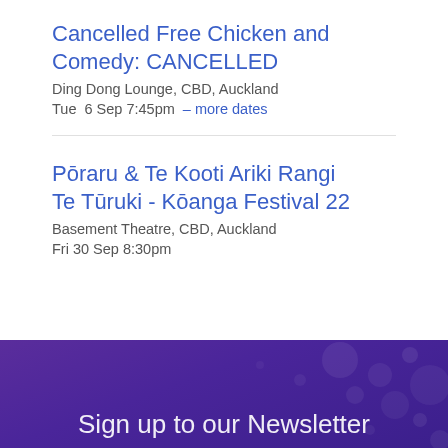Cancelled Free Chicken and Comedy: CANCELLED
Ding Dong Lounge, CBD, Auckland
Tue  6 Sep 7:45pm  – more dates
Pōraru & Te Kooti Ariki Rangi Te Tūruki - Kōanga Festival 22
Basement Theatre, CBD, Auckland
Fri 30 Sep 8:30pm
Sign up to our Newsletter